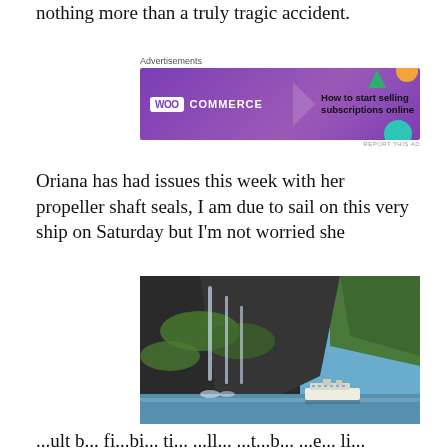nothing more than a truly tragic accident.
[Figure (screenshot): WooCommerce advertisement banner: 'How to start selling subscriptions online']
Oriana has had issues this week with her propeller shaft seals, I am due to sail on this very ship on Saturday but I'm not worried she
[Figure (photo): A cruise ship in a fjord with dramatic waterfalls and steep green mountains under a blue sky with clouds.]
...